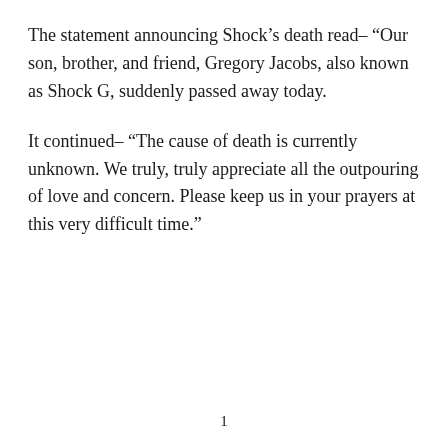The statement announcing Shock’s death read– “Our son, brother, and friend, Gregory Jacobs, also known as Shock G, suddenly passed away today.
It continued– “The cause of death is currently unknown. We truly, truly appreciate all the outpouring of love and concern. Please keep us in your prayers at this very difficult time.”
1